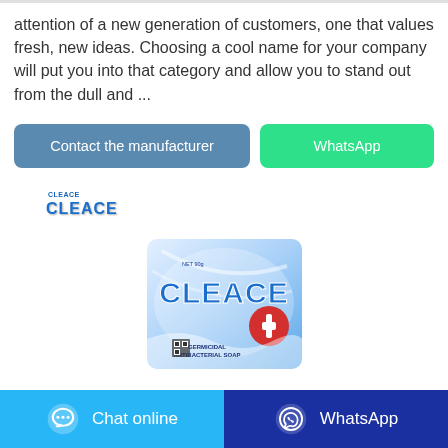attention of a new generation of customers, one that values fresh, new ideas. Choosing a cool name for your company will put you into that category and allow you to stand out from the dull and ...
[Figure (other): Two buttons: 'Contact the manufacturer' (blue-gray) and 'WhatsApp' (green)]
[Figure (photo): CLEACE brand logo text at top, followed by a product photo of CLEACE Germicidal Antibacterial Soap box in blue and white with a red cross symbol]
Chat online   WhatsApp